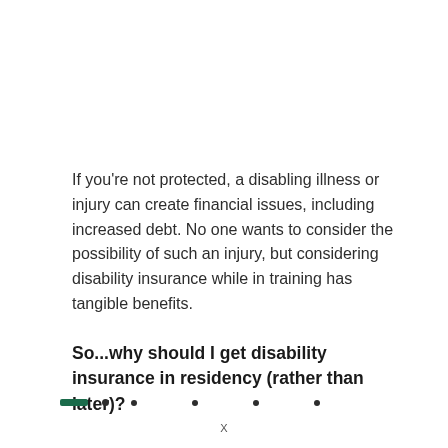If you're not protected, a disabling illness or injury can create financial issues, including increased debt. No one wants to consider the possibility of such an injury, but considering disability insurance while in training has tangible benefits.
So...why should I get disability insurance in residency (rather than later)?